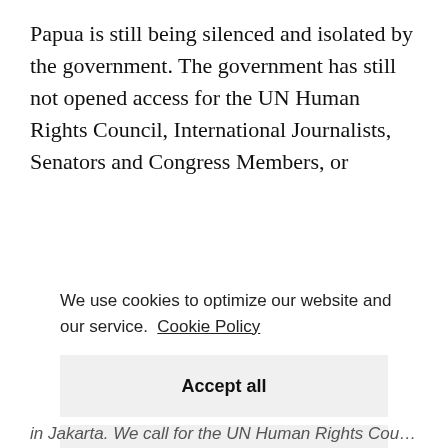Papua is still being silenced and isolated by the government. The government has still not opened access for the UN Human Rights Council, International Journalists, Senators and Congress Members, or
We use cookies to optimize our website and our service.  Cookie Policy
Accept all
Dismiss
Preferences
in Jakarta. We call for the UN Human Rights Council to